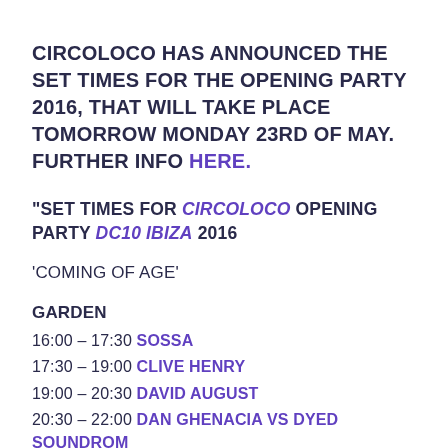CIRCOLOCO HAS ANNOUNCED THE SET TIMES FOR THE OPENING PARTY 2016, THAT WILL TAKE PLACE TOMORROW MONDAY 23RD OF MAY. FURTHER INFO HERE.
"SET TIMES FOR CIRCOLOCO OPENING PARTY DC10 IBIZA 2016
‘COMING OF AGE’
GARDEN
16:00 – 17:30 SOSSA
17:30 – 19:00 CLIVE HENRY
19:00 – 20:30 DAVID AUGUST
20:30 – 22:00 DAN GHENACIA VS DYED SOUNDROM